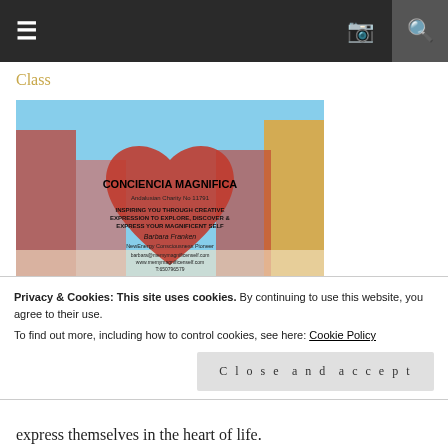Navigation bar with hamburger menu, Instagram icon, and search icon
Class
[Figure (photo): Conciencia Magnifica charity promotional image with red heart, group photos of people, text: CONCIENCIA MAGNIFICA, Andalusian Charity No 11791, INSPIRING YOU THROUGH CREATIVE EXPRESSION TO EXPLORE, DISCOVER & EXPRESS YOUR MAGNIFICENT SELF, Barbara Franken, NewEnergy Consciousness Pioneer, barbara@memymagnificenself.com, www.memymagnificenself.com, T:650796579]
All the money raised from my books and classes go to my non-profit association The
Privacy & Cookies: This site uses cookies. By continuing to use this website, you agree to their use.
To find out more, including how to control cookies, see here: Cookie Policy
Close and accept
express themselves in the heart of life